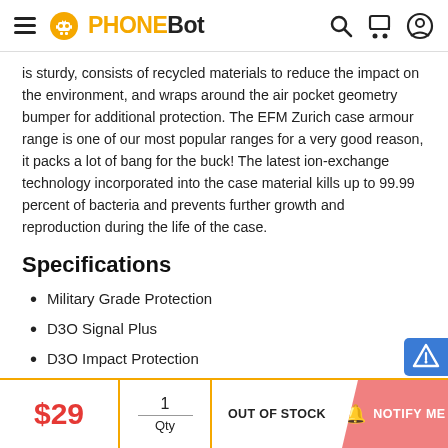PHONEBOT
is sturdy, consists of recycled materials to reduce the impact on the environment, and wraps around the air pocket geometry bumper for additional protection. The EFM Zurich case armour range is one of our most popular ranges for a very good reason, it packs a lot of bang for the buck! The latest ion-exchange technology incorporated into the case material kills up to 99.99 percent of bacteria and prevents further growth and reproduction during the life of the case.
Specifications
Military Grade Protection
D3O Signal Plus
D3O Impact Protection
$29 | 1 Qty | OUT OF STOCK | NOTIFY ME